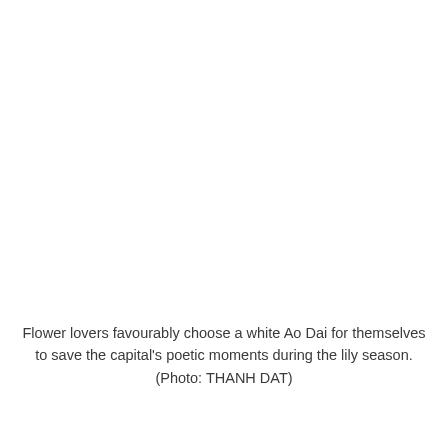[Figure (photo): Large photo occupying the upper portion of the page (content not visible in provided image — white area)]
Flower lovers favourably choose a white Ao Dai for themselves to save the capital's poetic moments during the lily season.
(Photo: THANH DAT)